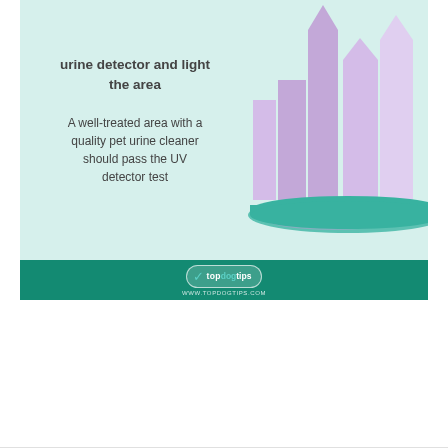[Figure (infographic): Infographic on mint green background showing text about using a UV urine detector and lighting the area, with purple abstract building/cityscape illustration on the right, and a teal/green footer bar with topdogtips logo and URL www.topdogtips.com]